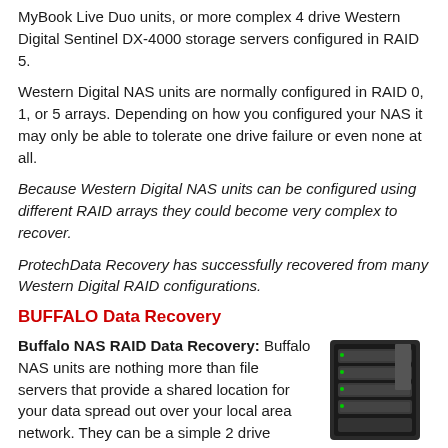MyBook Live Duo units, or more complex 4 drive Western Digital Sentinel DX-4000 storage servers configured in RAID 5.
Western Digital NAS units are normally configured in RAID 0, 1, or 5 arrays. Depending on how you configured your NAS it may only be able to tolerate one drive failure or even none at all.
Because Western Digital NAS units can be configured using different RAID arrays they could become very complex to recover.
ProtechData Recovery has successfully recovered from many Western Digital RAID configurations.
BUFFALO Data Recovery
Buffalo NAS RAID Data Recovery: Buffalo NAS units are nothing more than file servers that provide a shared location for your data spread out over your local area network. They can be a simple 2 drive Buffalo LinkStation with RAID levels limited by RAID0/1/5/10. Buffalo LinkStations are designed more for the home user. They
[Figure (photo): Image of a Buffalo NAS RAID storage unit, black tower with multiple drive bays visible]